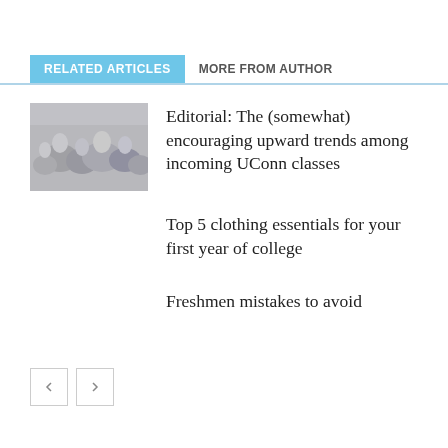RELATED ARTICLES   MORE FROM AUTHOR
[Figure (photo): Crowd of people, grayscale thumbnail image]
Editorial: The (somewhat) encouraging upward trends among incoming UConn classes
Top 5 clothing essentials for your first year of college
Freshmen mistakes to avoid